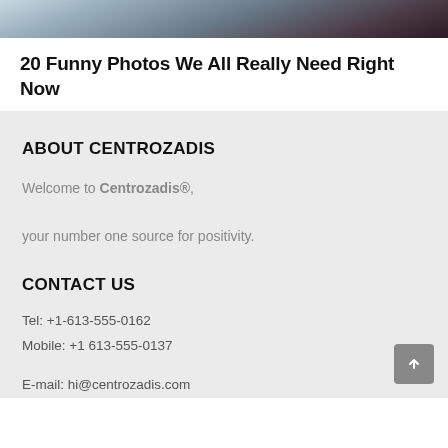[Figure (photo): Partial cropped photo of a person's face, showing forehead and eyes, with a colorful blurred background]
20 Funny Photos We All Really Need Right Now
ABOUT CENTROZADIS
Welcome to Centrozadis®,

your number one source for positivity.
CONTACT US
Tel: +1-613-555-0162
Mobile: +1 613-555-0137
E-mail: hi@centrozadis.com